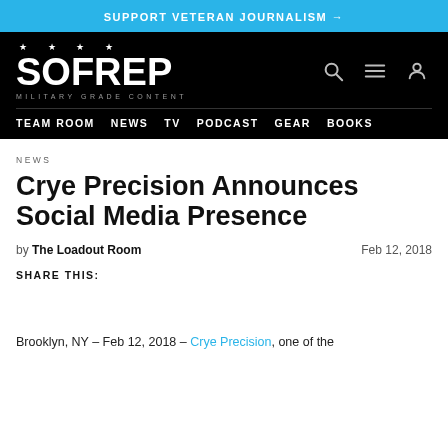SUPPORT VETERAN JOURNALISM →
[Figure (logo): SOFREP logo with stars and tagline MILITARY GRADE CONTENT on black background, with navigation links TEAM ROOM, NEWS, TV, PODCAST, GEAR, BOOKS]
NEWS
Crye Precision Announces Social Media Presence
by The Loadout Room  Feb 12, 2018
SHARE THIS:
Brooklyn, NY – Feb 12, 2018 – Crye Precision, one of the